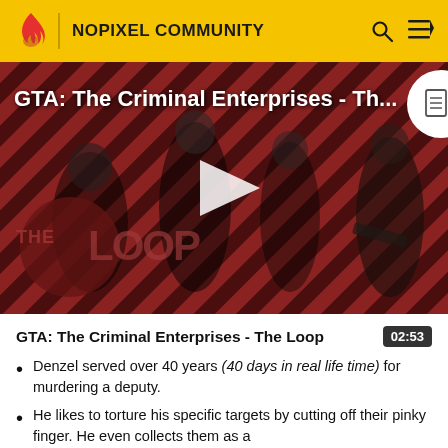NOPIXEL COMMUNITY
[Figure (screenshot): Video thumbnail showing GTA: The Criminal Enterprises - The Loop with game characters on a red diagonal striped background, overlaid with 'THE LOOP' logo text and a play button]
GTA: The Criminal Enterprises - The Loop
Denzel served over 40 years (40 days in real life time) for murdering a deputy.
He likes to torture his specific targets by cutting off their pinky finger. He even collects them as a